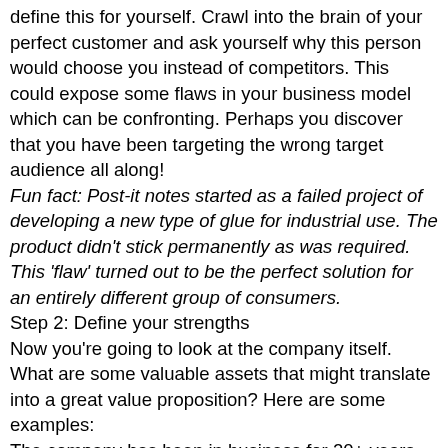define this for yourself. Crawl into the brain of your perfect customer and ask yourself why this person would choose you instead of competitors. This could expose some flaws in your business model which can be confronting. Perhaps you discover that you have been targeting the wrong target audience all along!
Fun fact: Post-it notes started as a failed project of developing a new type of glue for industrial use. The product didn't stick permanently as was required. This 'flaw' turned out to be the perfect solution for an entirely different group of consumers.
Step 2: Define your strengths
Now you're going to look at the company itself. What are some valuable assets that might translate into a great value proposition? Here are some examples:
The company has been in business for 20+ years. This indicates a reliable company instead of a startup with no prior business experience.
You have successfully acquired some of the best and